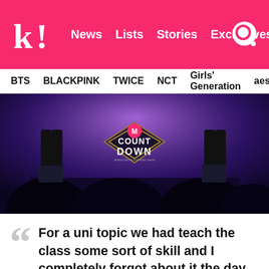k! News Lists Stories Exclusives
BTS BLACKPINK TWICE NCT Girls' Generation aespa
[Figure (photo): Concert/music show scene showing the M Countdown logo/branding with performers on stage and audience silhouettes in foreground, purple and blue lighting]
For a uni topic we had teach the class some sort of skill and I completely forgot about it the day of the class. Thinking to myself for what's something I know that's fairly enjoyable and can be a little fun, I thought to myself I could teach the